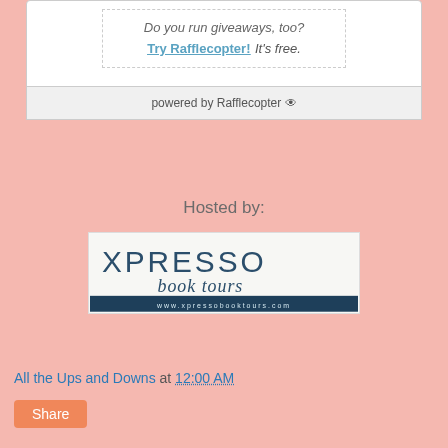Do you run giveaways, too? Try Rafflecopter! It's free.
powered by Rafflecopter
Hosted by:
[Figure (logo): Xpresso Book Tours logo with text www.xpressobooktours.com]
All the Ups and Downs at 12:00 AM
Share